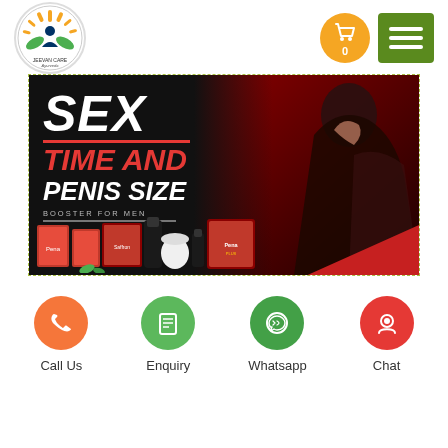[Figure (logo): Jeevan Care Ayurveda logo — circular badge with meditating figure, green leaves, orange sun rays, text 'JEEVAN CARE Ayurveda']
[Figure (illustration): Orange circular cart icon with shopping cart symbol and '0' count]
[Figure (illustration): Green rectangular hamburger menu button with three white horizontal lines]
[Figure (photo): Promotional banner: large text 'SEX TIME AND PENIS SIZE BOOSTER FOR MEN' on black background left side, couple photo right side, product packages shown at bottom. Red accent color throughout.]
[Figure (illustration): Four circular action buttons: orange Call Us (phone icon), green Enquiry (document icon), green Whatsapp (WhatsApp icon), red Chat (person icon)]
Call Us
Enquiry
Whatsapp
Chat